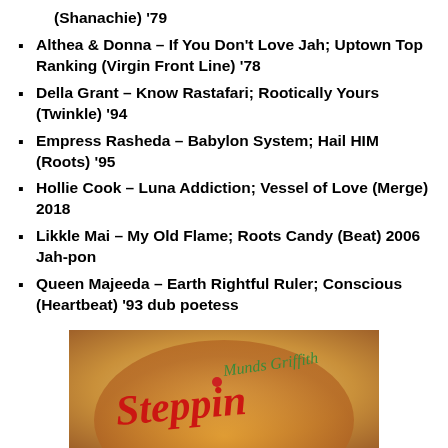(Shanachie) '79
Althea & Donna – If You Don't Love Jah; Uptown Top Ranking (Virgin Front Line) '78
Della Grant – Know Rastafari; Rootically Yours (Twinkle) '94
Empress Rasheda – Babylon System; Hail HIM (Roots) '95
Hollie Cook – Luna Addiction; Vessel of Love (Merge) 2018
Likkle Mai – My Old Flame; Roots Candy (Beat) 2006 Jah-pon
Queen Majeeda – Earth Rightful Ruler; Conscious (Heartbeat) '93 dub poetess
[Figure (photo): Album cover showing 'Steppin' text in red cursive letters with 'Munds Griffith' in green cursive on a warm yellow/orange background]